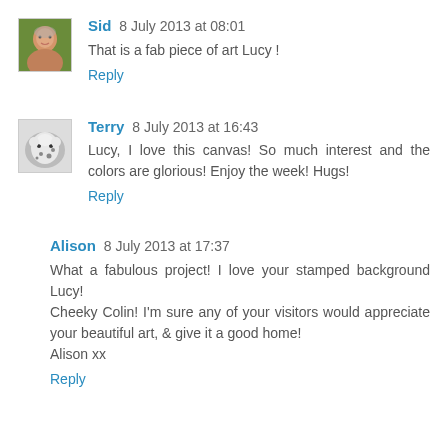[Figure (photo): Avatar photo of Sid - older man smiling outdoors with green background]
Sid 8 July 2013 at 08:01
That is a fab piece of art Lucy !
Reply
[Figure (photo): Avatar photo of Terry - black and white photo with a dalmatian dog]
Terry 8 July 2013 at 16:43
Lucy, I love this canvas! So much interest and the colors are glorious! Enjoy the week! Hugs!
Reply
Alison 8 July 2013 at 17:37
What a fabulous project! I love your stamped background Lucy!
Cheeky Colin! I'm sure any of your visitors would appreciate your beautiful art, & give it a good home!
Alison xx
Reply